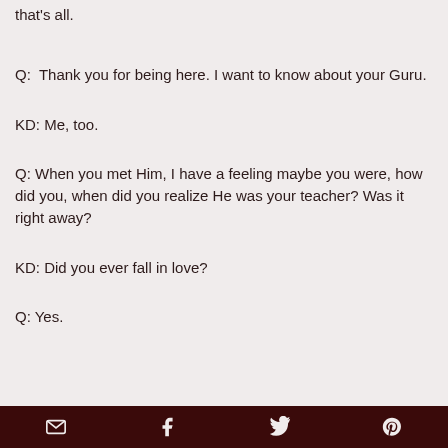that's all.
Q:  Thank you for being here. I want to know about your Guru.
KD: Me, too.
Q: When you met Him, I have a feeling maybe you were, how did you, when did you realize He was your teacher? Was it right away?
KD: Did you ever fall in love?
Q: Yes.
[email icon] [facebook icon] [twitter icon] [pinterest icon]